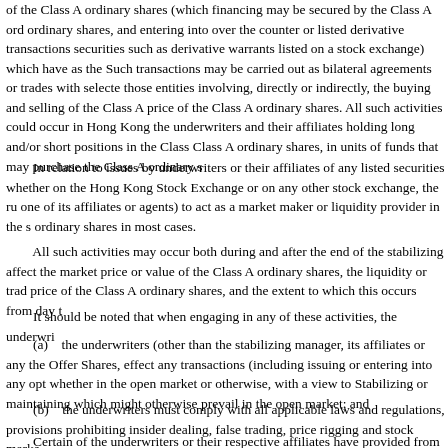of the Class A ordinary shares (which financing may be secured by the Class A ordinary shares, and entering into over the counter or listed derivative transactions securities such as derivative warrants listed on a stock exchange) which have as the Such transactions may be carried out as bilateral agreements or trades with selected those entities involving, directly or indirectly, the buying and selling of the Class A price of the Class A ordinary shares. All such activities could occur in Hong Kong the underwriters and their affiliates holding long and/or short positions in the Class Class A ordinary shares, in units of funds that may purchase the Class A ordinary s
In relation to issues by underwriters or their affiliates of any listed securities whether on the Hong Kong Stock Exchange or on any other stock exchange, the ru one of its affiliates or agents) to act as a market maker or liquidity provider in the s ordinary shares in most cases.
All such activities may occur both during and after the end of the stabilizing affect the market price or value of the Class A ordinary shares, the liquidity or trad price of the Class A ordinary shares, and the extent to which this occurs from day t
It should be noted that when engaging in any of these activities, the underwri
(a)    the underwriters (other than the stabilizing manager, its affiliates or any the Offer Shares, effect any transactions (including issuing or entering into any opt whether in the open market or otherwise, with a view to Stabilizing or maintaining which might otherwise prevail in the open market; and
(b)    the underwriters must comply with all applicable laws and regulations, provisions prohibiting insider dealing, false trading, price rigging and stock marke
Certain of the underwriters or their respective affiliates have provided from